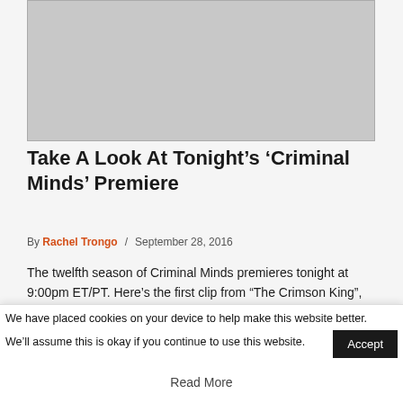[Figure (photo): Gray placeholder image for article thumbnail]
Take A Look At Tonight’s ‘Criminal Minds’ Premiere
By Rachel Trongo / September 28, 2016
The twelfth season of Criminal Minds premieres tonight at 9:00pm ET/PT. Here’s the first clip from “The Crimson King”, featuring newcomer Luke…
We have placed cookies on your device to help make this website better. We’ll assume this is okay if you continue to use this website.
Read More